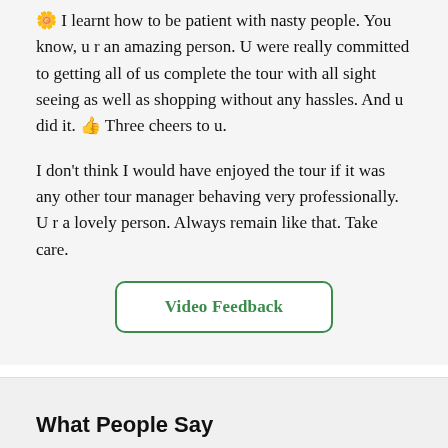🌼 I learnt how to be patient with nasty people. You know, u r an amazing person. U were really committed to getting all of us complete the tour with all sight seeing as well as shopping without any hassles. And u did it. 👍 Three cheers to u.

I don't think I would have enjoyed the tour if it was any other tour manager behaving very professionally. U r a lovely person. Always remain like that. Take care.
Video Feedback
What People Say